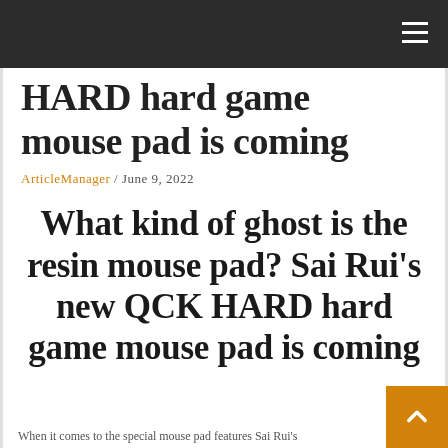HARD hard game mouse pad is coming
ArticleManager / June 9, 2022
What kind of ghost is the resin mouse pad? Sai Rui's new QCK HARD hard game mouse pad is coming
When it comes to the special mouse pad features Sai Rui's...